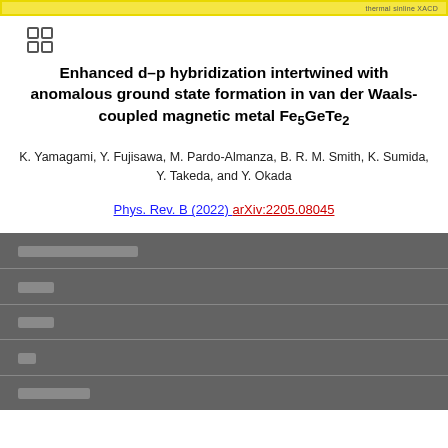thermal sinline XACD
[Figure (other): Grid/table icon with four cells]
Enhanced d–p hybridization intertwined with anomalous ground state formation in van der Waals-coupled magnetic metal Fe5GeTe2
K. Yamagami, Y. Fujisawa, M. Pardo-Almanza, B. R. M. Smith, K. Sumida, Y. Takeda, and Y. Okada
Phys. Rev. B (2022) arXiv:2205.08045
| □□□□□□□□□□□□□□□ |
| □□□□ |
| □□□□ |
| □□ |
| □□□□□□□□ |